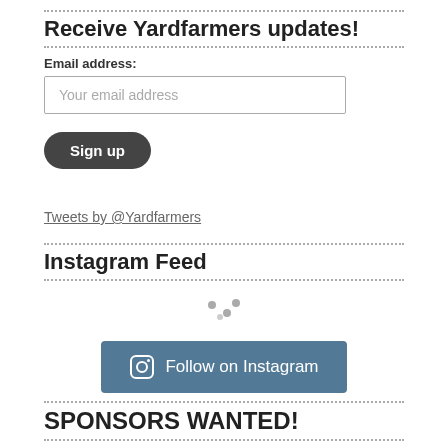Receive Yardfarmers updates!
Email address:
Your email address
Sign up
Tweets by @Yardfarmers
Instagram Feed
[Figure (other): Loading spinner dots icon for Instagram Feed]
Follow on Instagram
SPONSORS WANTED!
This year we'll be producing several short videos on yardfarming. If you are interested in supporting the